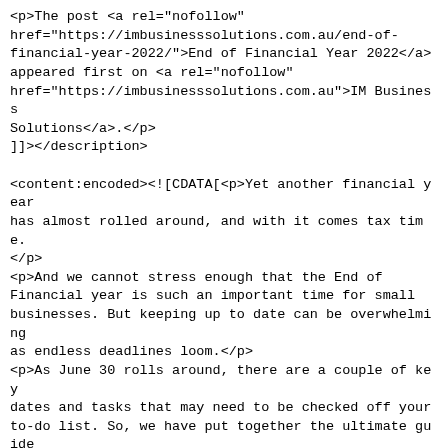<p>The post <a rel="nofollow" href="https://imbusinesssolutions.com.au/end-of-financial-year-2022/">End of Financial Year 2022</a> appeared first on <a rel="nofollow" href="https://imbusinesssolutions.com.au">IM Business Solutions</a>.</p>
]]></description>

<content:encoded><![CDATA[<p>Yet another financial year has almost rolled around, and with it comes tax time.</p>
<p>And we cannot stress enough that the End of Financial year is such an important time for small businesses. But keeping up to date can be overwhelming as endless deadlines loom.</p>
<p>As June 30 rolls around, there are a couple of key dates and tasks that may need to be checked off your to-do list. So, we have put together the ultimate guide to EOFY 2022...</p>
<p>But before we get into that, a little PSA for you all – remember to connect with your bookkeeper or accountant well before June 30. This will ensure all reporting requirements and deadlines are in order before EOFY.</p>
<p>Ok, let's do this!</p>
<p><strong>Superannuation</strong><br />
There are a couple of changes to superannuation from July 1. For tax deduction purposes, ensure you pay all superannuation contributions before June 21.</p>
<ul>